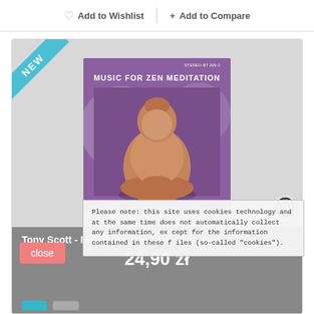♡  Add to Wishlist
+ Add to Compare
[Figure (photo): CD album cover for 'Music For Zen Meditation' by Tony Scott featuring a Buddha statue on a purple background. A 'NEW' ribbon badge is shown in the top-left corner.]
Tony Scott - Music For Zen Meditation And...
24,90 zł
Please note: this site uses cookies technology and at the same time does not automatically collect any information, except for the information contained in these files (so-called "cookies").
close